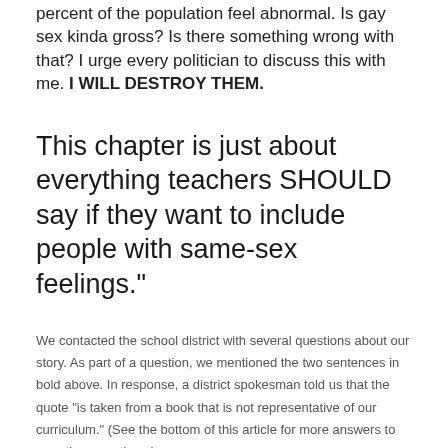percent of the population feel abnormal. Is gay sex kinda gross? Is there something wrong with that? I urge every politician to discuss this with me. I WILL DESTROY THEM.
This chapter is just about everything teachers SHOULD say if they want to include people with same-sex feelings."
We contacted the school district with several questions about our story. As part of a question, we mentioned the two sentences in bold above. In response, a district spokesman told us that the quote "is taken from a book that is not representative of our curriculum." (See the bottom of this article for more answers to our other questions.)
‘The Pros and Cons of Gay Sex’
Social media users shared pages from the book, which taught how to have anal and oral sex. The book also mentioned Grindr, a mobile app that